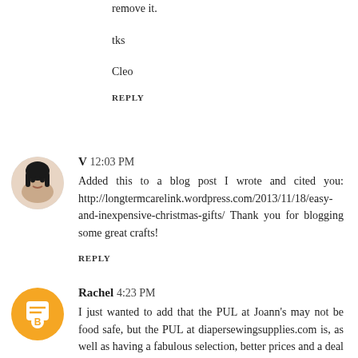remove it.
tks
Cleo
REPLY
V  12:03 PM
Added this to a blog post I wrote and cited you: http://longtermcarelink.wordpress.com/2013/11/18/easy-and-inexpensive-christmas-gifts/ Thank you for blogging some great crafts!
REPLY
Rachel  4:23 PM
I just wanted to add that the PUL at Joann's may not be food safe, but the PUL at diapersewingsupplies.com is, as well as having a fabulous selection, better prices and a deal where you can get an extra piece added to your order if you spend $15 or more. It's a